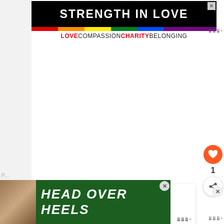[Figure (screenshot): Top banner advertisement with rainbow stripe and text 'STRENGTH IN LOVE' on black background, with tagline 'LOVE COMPASSION CHARITY BELONGING']
[Figure (screenshot): Heart/like button (orange circle with white heart), count of 1, and share button on right side]
[Figure (screenshot): What's Next panel showing 'PreSchool Graduation' with thumbnail and Wibbitz logo]
[Figure (screenshot): Bottom banner advertisement with dog image and text 'HEAD OVER HEELS' on dark green background, with close buttons]